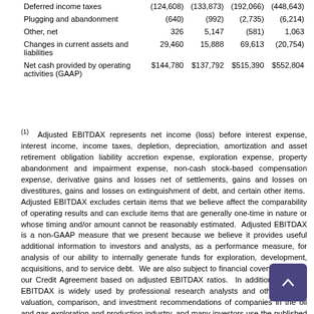|  | Col1 | Col2 | Col3 | Col4 |
| --- | --- | --- | --- | --- |
| Deferred income taxes | (124,608) | (133,873) | (192,066) | (448,643) |
| Plugging and abandonment | (640) | (992) | (2,735) | (6,214) |
| Other, net | 326 | 5,147 | (581) | 1,063 |
| Changes in current assets and liabilities | 29,460 | 15,888 | 69,613 | (20,754) |
| Net cash provided by operating activities (GAAP) | $144,780 | $137,792 | $515,390 | $552,804 |
(1) Adjusted EBITDAX represents net income (loss) before interest expense, interest income, income taxes, depletion, depreciation, amortization and asset retirement obligation liability accretion expense, exploration expense, property abandonment and impairment expense, non-cash stock-based compensation expense, derivative gains and losses net of settlements, gains and losses on divestitures, gains and losses on extinguishment of debt, and certain other items. Adjusted EBITDAX excludes certain items that we believe affect the comparability of operating results and can exclude items that are generally one-time in nature or whose timing and/or amount cannot be reasonably estimated. Adjusted EBITDAX is a non-GAAP measure that we present because we believe it provides useful additional information to investors and analysts, as a performance measure, for analysis of our ability to internally generate funds for exploration, development, acquisitions, and to service debt. We are also subject to financial covenants under our Credit Agreement based on adjusted EBITDAX ratios. In addition, adjusted EBITDAX is widely used by professional research analysts and others in the valuation, comparison, and investment recommendations of companies in the oil and gas exploration and production industry, and many investors use the published research of industry research analysts in making investment decisions. Adjusted EBITDAX should not be considered in isolation or as a substitute for net income (loss), income